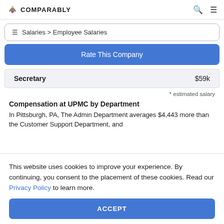COMPARABLY
Salaries > Employee Salaries
Rate This Company
| Job Title | Salary |
| --- | --- |
| Secretary | $59k |
* estimated salary
Compensation at UPMC by Department
In Pittsburgh, PA, The Admin Department averages $4,443 more than the Customer Support Department, and
This website uses cookies to improve your experience. By continuing, you consent to the placement of these cookies. Read our Privacy Policy to learn more.
ACCEPT